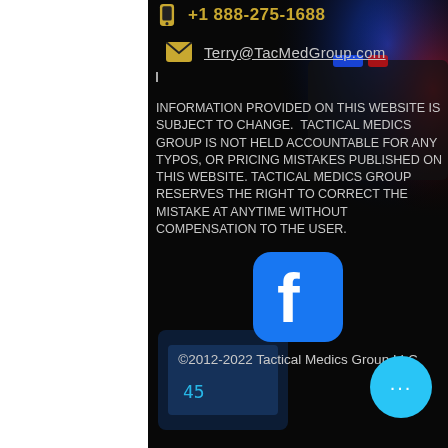+1 888-275-1688
Terry@TacMedGroup.com
INFORMATION PROVIDED ON THIS WEBSITE IS SUBJECT TO CHANGE.  TACTICAL MEDICS GROUP IS NOT HELD ACCOUNTABLE FOR ANY TYPOS, OR PRICING MISTAKES PUBLISHED ON THIS WEBSITE. TACTICAL MEDICS GROUP RESERVES THE RIGHT TO CORRECT THE MISTAKE AT ANYTIME WITHOUT COMPENSATION TO THE USER.
[Figure (logo): Facebook logo icon - blue rounded square with white 'f' letter]
©2012-2022 Tactical Medics Group LLC